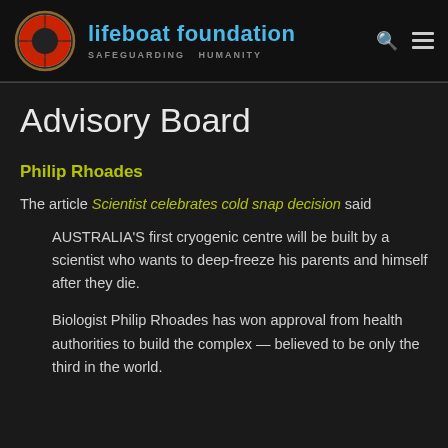[Figure (logo): Lifeboat Foundation logo with life preserver ring icon, name 'lifeboat foundation' in blue, tagline 'SAFEGUARDING HUMANITY' in grey, search and menu icons]
Advisory Board
Philip Rhoades
The article Scientist celebrates cold snap decision said
AUSTRALIA'S first cryogenic centre will be built by a scientist who wants to deep-freeze his parents and himself after they die.
Biologist Philip Rhoades has won approval from health authorities to build the complex — believed to be only the third in the world.